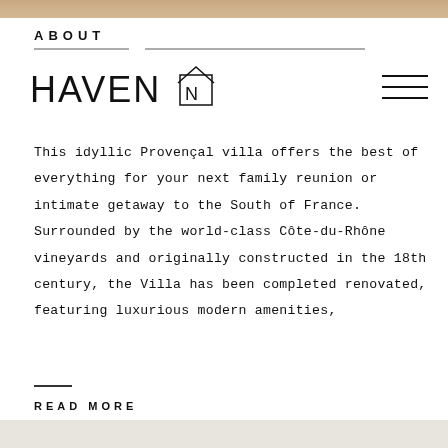ABOUT
[Figure (logo): HAVEN IN logo with house/arrow icon in outlined style]
This idyllic Provençal villa offers the best of everything for your next family reunion or intimate getaway to the South of France. Surrounded by the world-class Côte-du-Rhône vineyards and originally constructed in the 18th century, the Villa has been completed renovated, featuring luxurious modern amenities,
READ MORE